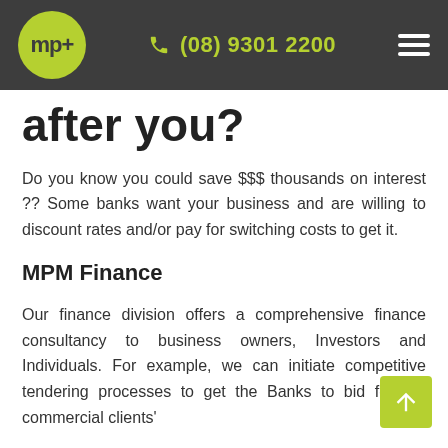mp+ | (08) 9301 2200
...after you?
Do you know you could save $$$ thousands on interest ?? Some banks want your business and are willing to discount rates and/or pay for switching costs to get it.
MPM Finance
Our finance division offers a comprehensive finance consultancy to business owners, Investors and Individuals. For example, we can initiate competitive tendering processes to get the Banks to bid for our commercial clients'